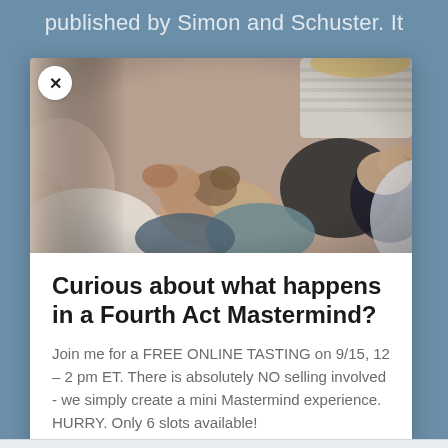published by Simon and Schuster. It
[Figure (photo): Group of people sitting in a circle having a discussion, showing hands gesturing, diverse group in casual clothing]
Curious about what happens in a Fourth Act Mastermind?
Join me for a FREE ONLINE TASTING on 9/15, 12 – 2 pm ET. There is absolutely NO selling involved - we simply create a mini Mastermind experience. HURRY. Only 6 slots available!